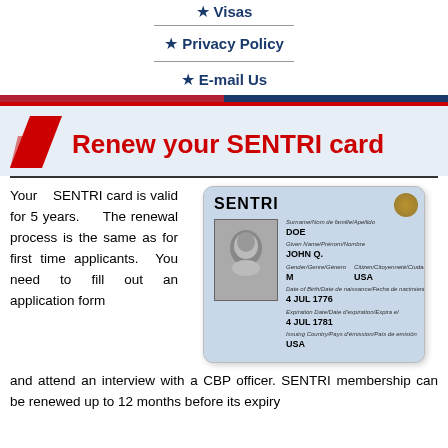★ Visas
★ Privacy Policy
★ E-mail Us
Renew your SENTRI card
[Figure (photo): Sample SENTRI card showing name DOE, JOHN Q., Gender M, Citizenship USA, Date of Birth 4 JUL 1776, Expiration Date 4 JUL 1781, Issuing Country USA]
Your SENTRI card is valid for 5 years. The renewal process is the same as for first time applicants. You need to fill out an application form and attend an interview with a CBP officer. SENTRI membership can be renewed up to 12 months before its expiry